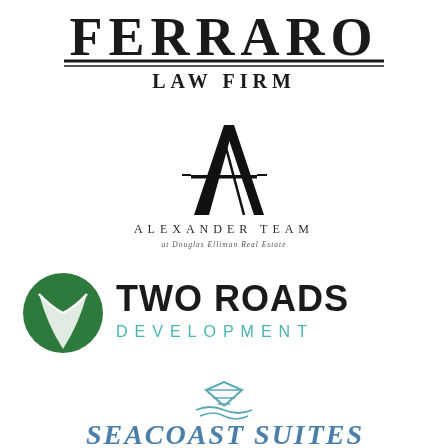[Figure (logo): Ferraro Law Firm logo — large bold serif text FERRARO with double underline, LAW FIRM below in smaller capitals]
[Figure (logo): Alexander Team at Douglas Elliman Real Estate logo — geometric stylized A letterform above spaced-out ALEXANDER TEAM text and smaller italic subtitle]
[Figure (logo): Two Roads Development logo — green circle with two white road-path shapes, bold TWO ROADS text with DEVELOPMENT in spaced teal capitals below]
[Figure (logo): Seacoast Suites logo — teal/blue serif italic text with stylized wave/building icon above]